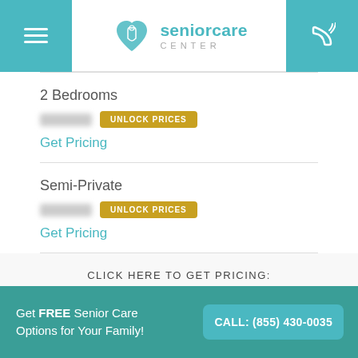[Figure (logo): Senior Care Center logo with teal heart icon and hamburger menu on left, phone icon on right]
2 Bedrooms
UNLOCK PRICES
Get Pricing
Semi-Private
UNLOCK PRICES
Get Pricing
CLICK HERE TO GET PRICING:
GET PRICING
Get FREE Senior Care Options for Your Family!
CALL: (855) 430-0035